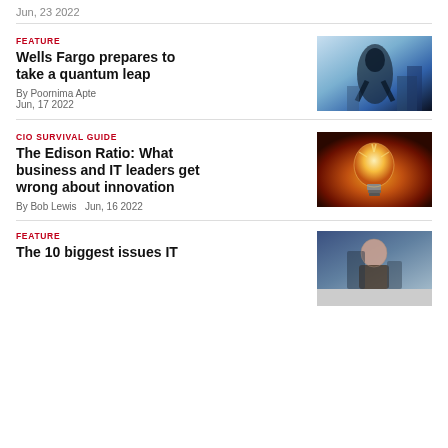Jun, 23 2022
FEATURE
Wells Fargo prepares to take a quantum leap
By Poornima Apte  Jun, 17 2022
[Figure (photo): Abstract photo of a figure/silhouette against a blue sky with buildings]
CIO SURVIVAL GUIDE
The Edison Ratio: What business and IT leaders get wrong about innovation
By Bob Lewis  Jun, 16 2022
[Figure (photo): Close-up photo of a glowing incandescent light bulb on a red background]
FEATURE
The 10 biggest issues IT
[Figure (photo): Photo of a person, appears to be a woman, in a tech/office environment]